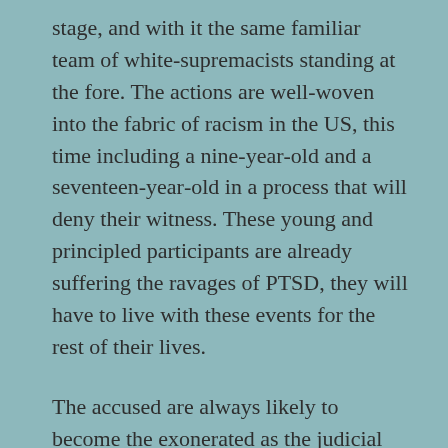stage, and with it the same familiar team of white-supremacists standing at the fore. The actions are well-woven into the fabric of racism in the US, this time including a nine-year-old and a seventeen-year-old in a process that will deny their witness. These young and principled participants are already suffering the ravages of PTSD, they will have to live with these events for the rest of their lives.
The accused are always likely to become the exonerated as the judicial process discovers all the ways that a fabric of systemic racism allows in a white-supremacist system. Fiction morphs into undeniable fact when the hallowed myths arise to defend the indefensible, the blue lives